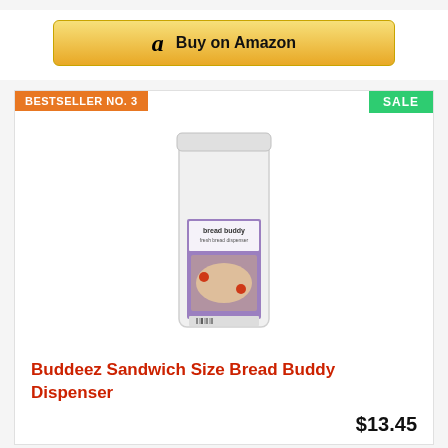[Figure (screenshot): Amazon 'Buy on Amazon' button with Amazon logo on golden gradient background]
BESTSELLER NO. 3
SALE
[Figure (photo): Buddeez Sandwich Size Bread Buddy Dispenser product photo - tall white plastic container with purple label showing bread being dispensed]
Buddeez Sandwich Size Bread Buddy Dispenser
$13.45